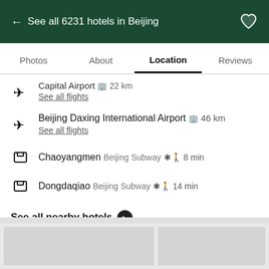← See all 6231 hotels in Beijing
Photos  About  Location  Reviews
Capital Airport  22 km
See all flights
Beijing Daxing International Airport  46 km
See all flights
Chaoyangmen  Beijing Subway  8 min
Dongdaqiao  Beijing Subway  14 min
See all nearby hotels ❯
[Figure (photo): Two gray placeholder image tiles at bottom of page]